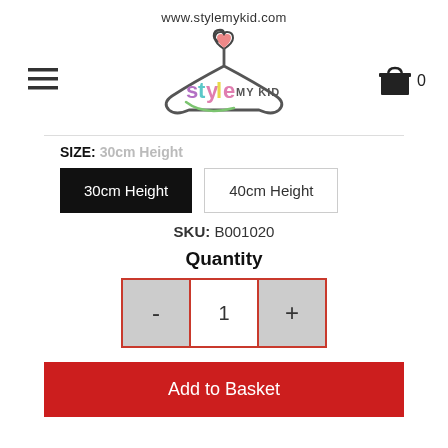www.stylemykid.com
[Figure (logo): Style My Kid logo with a clothes hanger shape and heart, colorful text reading 'style MY KID']
SIZE: 30cm Height
30cm Height | 40cm Height (size selection buttons)
SKU: B001020
Quantity
- 1 + (quantity controls)
Add to Basket